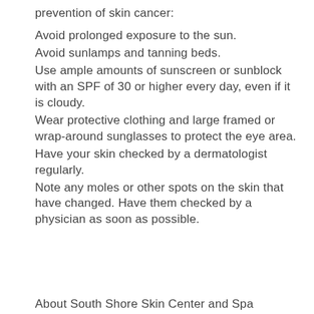prevention of skin cancer:
Avoid prolonged exposure to the sun.
Avoid sunlamps and tanning beds.
Use ample amounts of sunscreen or sunblock with an SPF of 30 or higher every day, even if it is cloudy.
Wear protective clothing and large framed or wrap-around sunglasses to protect the eye area.
Have your skin checked by a dermatologist regularly.
Note any moles or other spots on the skin that have changed. Have them checked by a physician as soon as possible.
About South Shore Skin Center and Spa